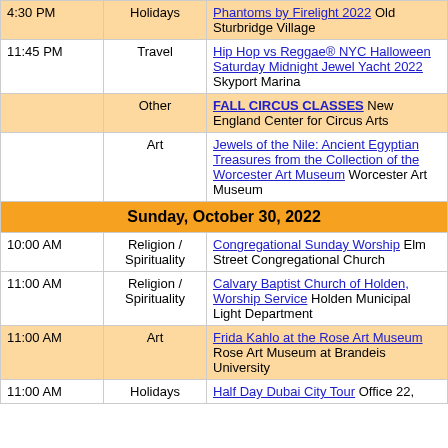| Time | Category | Event |
| --- | --- | --- |
| 4:30 PM | Holidays | Phantoms by Firelight 2022 Old Sturbridge Village |
| 11:45 PM | Travel | Hip Hop vs Reggae® NYC Halloween Saturday Midnight Jewel Yacht 2022 Skyport Marina |
|  | Other | FALL CIRCUS CLASSES New England Center for Circus Arts |
|  | Art | Jewels of the Nile: Ancient Egyptian Treasures from the Collection of the Worcester Art Museum Worcester Art Museum |
| Sunday, October 30, 2022 |  |  |
| 10:00 AM | Religion / Spirituality | Congregational Sunday Worship Elm Street Congregational Church |
| 11:00 AM | Religion / Spirituality | Calvary Baptist Church of Holden, Worship Service Holden Municipal Light Department |
| 11:00 AM | Art | Frida Kahlo at the Rose Art Museum Rose Art Museum at Brandeis University |
| 11:00 AM | Holidays | Half Day Dubai City Tour Office 22, |